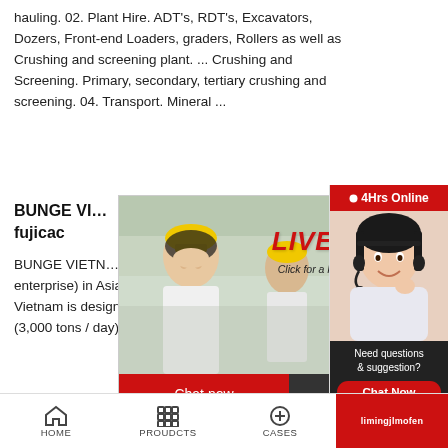hauling. 02. Plant Hire. ADT's, RDT's, Excavators, Dozers, Front-end Loaders, graders, Rollers as well as Crushing and screening plant. ... Crushing and Screening. Primary, secondary, tertiary crushing and screening. 04. Transport. Mineral ...
BUNGE VIETNAM – fujicac
BUNGE VIETNAM investment of S Corporation (US enterprise) in Asia, the biggest o oil extracting plants Vietnam is designed with a ca tons consumed soy / year (3,000 tons / day). Eac supply 600 tons of crude ...
[Figure (screenshot): Live chat popup overlay with construction workers in yellow hard hats, LIVE CHAT text in red italic, 'Click for a Free Consultation' subtitle, Chat now (red) and Chat later (dark) buttons at bottom, close X button top right]
[Figure (screenshot): Right sidebar showing '4Hrs Online' in red header, female customer service agent with headset, 'Need questions & suggestion?' text, Chat Now red button, Enquiry link, limingjlmofen red button]
HOME   PROUDCTS   CASES   limingjlmofen